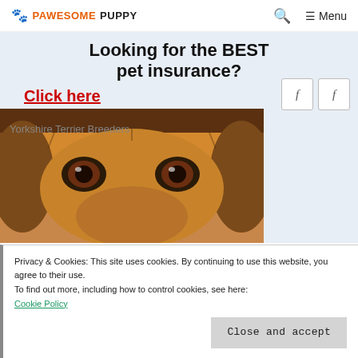PAWESOME PUPPY — Search — Menu
Looking for the BEST pet insurance?
Click here
[Figure (photo): Close-up photo of a dog's face (dachshund-type) with big brown eyes and black nose, looking up at the camera. The image fills a wide banner format. Overlaid text reads 'Yorkshire Terrier Breeders'.]
Privacy & Cookies: This site uses cookies. By continuing to use this website, you agree to their use.
To find out more, including how to control cookies, see here:
Cookie Policy
Close and accept